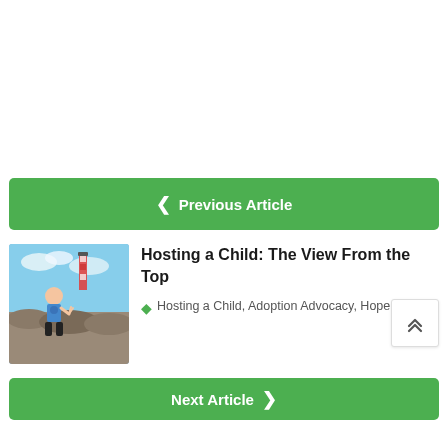< Previous Article
[Figure (photo): A child wearing a blue Captain America t-shirt standing on rocky terrain near a lighthouse under a blue sky]
Hosting a Child: The View From the Top
Hosting a Child, Adoption Advocacy, Hope Gallery
Next Article >